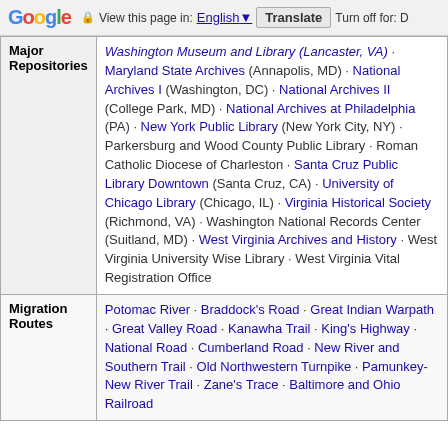Google | View this page in: English | Translate | Turn off for: D
|  |  |
| --- | --- |
| Major Repositories | Washington Museum and Library (Lancaster, VA) · Maryland State Archives (Annapolis, MD) · National Archives I (Washington, DC) · National Archives II (College Park, MD) · National Archives at Philadelphia (PA) · New York Public Library (New York City, NY) · Parkersburg and Wood County Public Library · Roman Catholic Diocese of Charleston · Santa Cruz Public Library Downtown (Santa Cruz, CA) · University of Chicago Library (Chicago, IL) · Virginia Historical Society (Richmond, VA) · Washington National Records Center (Suitland, MD) · West Virginia Archives and History · West Virginia University Wise Library · West Virginia Vital Registration Office |
| Migration Routes | Potomac River · Braddock's Road · Great Indian Warpath · Great Valley Road · Kanawha Trail · King's Highway · National Road · Cumberland Road · New River and Southern Trail · Old Northwestern Turnpike · Pamunkey-New River Trail · Zane's Trace · Baltimore and Ohio Railroad |